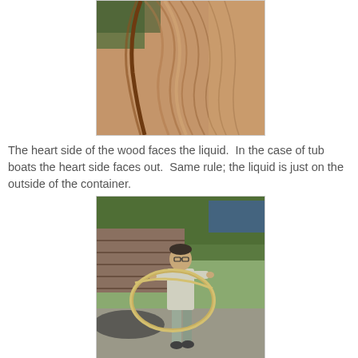[Figure (photo): Close-up photo of the curved heart side of a wood plank, showing wood grain and reddish-brown tones.]
The heart side of the wood faces the liquid.  In the case of tub boats the heart side faces out.  Same rule; the liquid is just on the outside of the container.
[Figure (photo): Photo of a man standing outdoors holding a large circular bamboo hoop, with stacked wood logs visible in the background.]